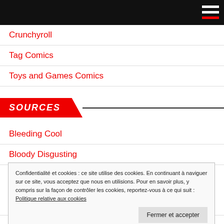Crunchyroll
Tag Comics
Toys and Games Comics
SOURCES
Bleeding Cool
Bloody Disgusting
Confidentialité et cookies : ce site utilise des cookies. En continuant à naviguer sur ce site, vous acceptez que nous en utilisions. Pour en savoir plus, y compris sur la façon de contrôler les cookies, reportez-vous à ce qui suit : Politique relative aux cookies
Deadline